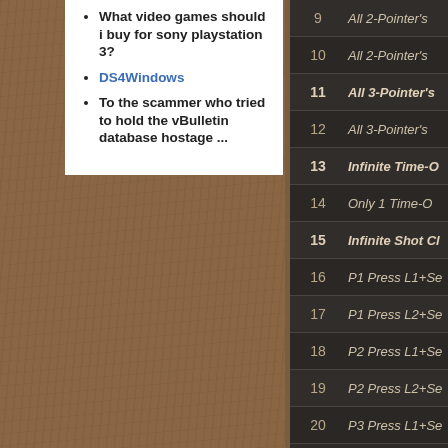What video games should i buy for sony playstation 3?
DS4Windows
To the scammer who tried to hold the vBulletin database hostage ...
| # | Description |
| --- | --- |
| 9 | All 2-Pointer's |
| 10 | All 2-Pointer's |
| 11 | All 3-Pointer's |
| 12 | All 3-Pointer's |
| 13 | Infinite Time-O |
| 14 | Only 1 Time-O |
| 15 | Infinite Shot Cl |
| 16 | P1 Press L1+Se |
| 17 | P1 Press L2+Se |
| 18 | P2 Press L1+Se |
| 19 | P2 Press L2+Se |
| 20 | P3 Press L1+Se |